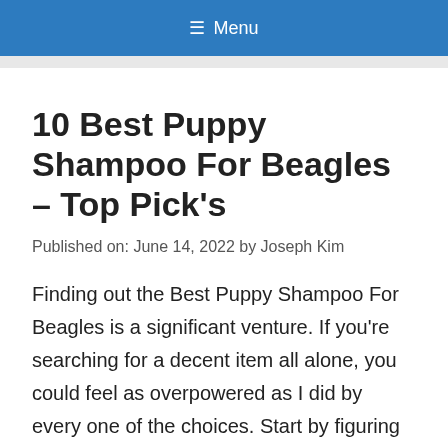≡ Menu
10 Best Puppy Shampoo For Beagles – Top Pick's
Published on: June 14, 2022 by Joseph Kim
Finding out the Best Puppy Shampoo For Beagles is a significant venture. If you're searching for a decent item all alone, you could feel as overpowered as I did by every one of the choices. Start by figuring out how…